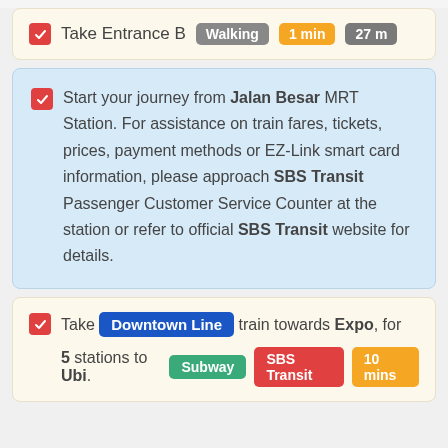Take Entrance B  Walking  1 min  27 m
Start your journey from Jalan Besar MRT Station. For assistance on train fares, tickets, prices, payment methods or EZ-Link smart card information, please approach SBS Transit Passenger Customer Service Counter at the station or refer to official SBS Transit website for details.
Take Downtown Line train towards Expo, for 5 stations to Ubi.  Subway  SBS Transit  10 mins